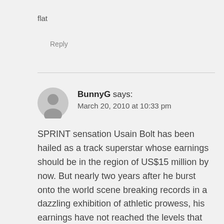flat
Reply
BunnyG says:
March 20, 2010 at 10:33 pm
SPRINT sensation Usain Bolt has been hailed as a track superstar whose earnings should be in the region of US$15 million by now. But nearly two years after he burst onto the world scene breaking records in a dazzling exhibition of athletic prowess, his earnings have not reached the levels that they should. The swimmer